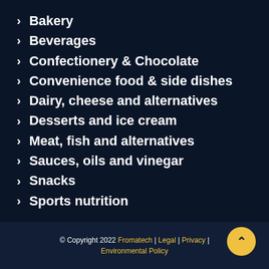Bakery
Beverages
Confectionery & Chocolate
Convenience food & side dishes
Dairy, cheese and alternatives
Desserts and ice cream
Meat, fish and alternatives
Sauces, oils and vinegar
Snacks
Sports nutrition
© Copyright 2022 Fromatech | Legal | Privacy | Environmental Policy